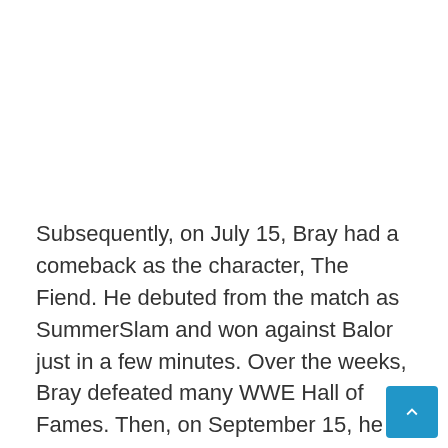Subsequently, on July 15, Bray had a comeback as the character, The Fiend. He debuted from the match as SummerSlam and won against Balor just in a few minutes. Over the weeks, Bray defeated many WWE Hall of Fames. Then, on September 15, he defeated Seth Rollins and received the Universal Championship. Then, he was drafted to the SmackDown in the 2019 WWE Draft. He holds the title of 118 days, before being defeated by